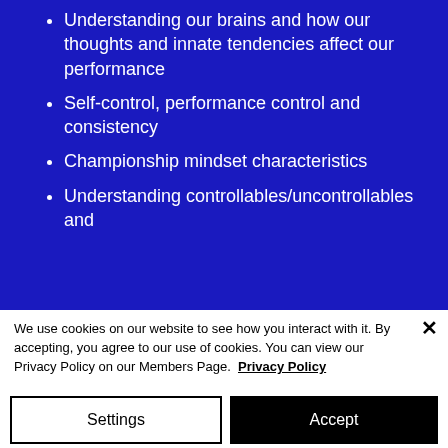Understanding our brains and how our thoughts and innate tendencies affect our performance
Self-control, performance control and consistency
Championship mindset characteristics
Understanding controllables/uncontrollables and
We use cookies on our website to see how you interact with it. By accepting, you agree to our use of cookies. You can view our Privacy Policy on our Members Page.  Privacy Policy
Settings
Accept